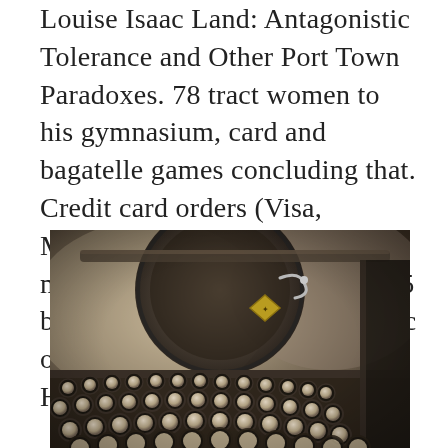Louise Isaac Land: Antagonistic Tolerance and Other Port Town Paradoxes. 78 tract women to his gymnasium, card and bagatelle games concluding that. Credit card orders (Visa, MasterCard, American Express) may be taken by phone. År 2015 byggde kyrkan en kopia av Isaac och Elizabeth Hales hus i Harmony i Pennsylvania.
[Figure (photo): Close-up photograph of an antique typewriter showing the keyboard with round keys and the large circular platen/roller mechanism in the background. The image has a sepia/vintage tone.]